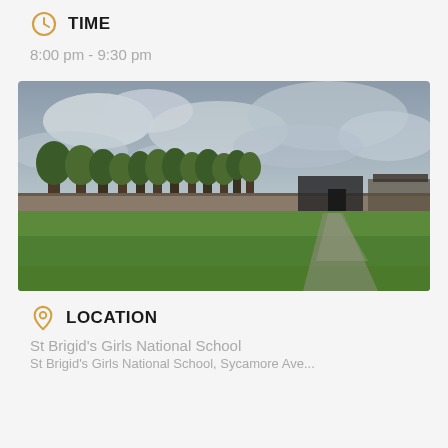TIME
8:00 pm - 9:30 pm
[Figure (photo): Street view photo of St Brigid's Girls National School showing a green field in the foreground, a stone wall with trees and school buildings behind it, and a cloudy grey sky above. A path leads to a gate in the wall.]
LOCATION
St Brigid's Girls National School
St Brigid's Girls National School, Sycamore Ave, ...